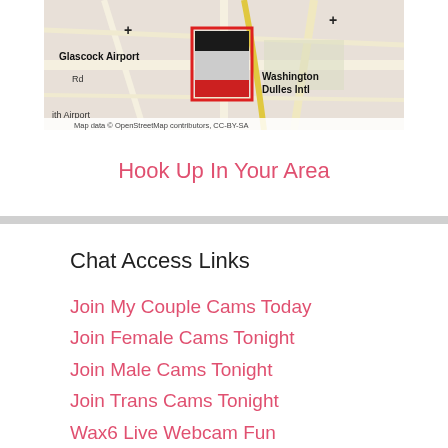[Figure (map): Map showing Glascock Airport and Washington Dulles Intl area with a red rectangle overlay on a street map. Map data from OpenStreetMap contributors, CC-BY-SA.]
Hook Up In Your Area
Chat Access Links
Join My Couple Cams Today
Join Female Cams Tonight
Join Male Cams Tonight
Join Trans Cams Tonight
Wax6 Live Webcam Fun
Strip And Chat
Asian Cams
Russian Cams